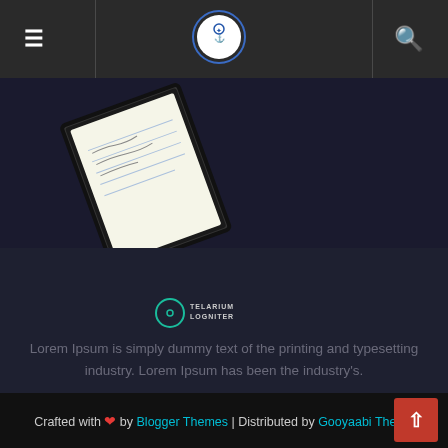≡  [logo]  🔍
[Figure (illustration): Tilted book/notebook with handwritten notes, black cover, blue lines visible, positioned in top-left area]
[Figure (logo): Small circular logo with teal outline and text 'TELARIUM LOGNITER' or similar, centered in dark mid section]
Lorem Ipsum is simply dummy text of the printing and typesetting industry. Lorem Ipsum has been the industry's.
Crafted with ❤ by Blogger Themes | Distributed by Gooyaabi Theme